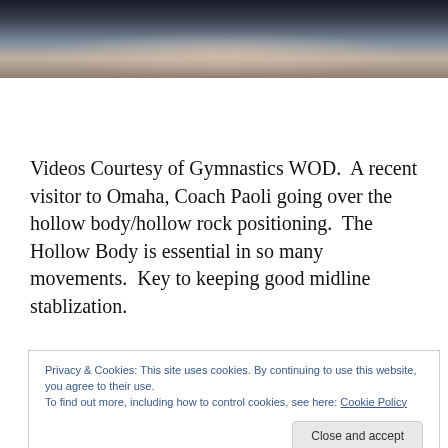[Figure (photo): Partial landscape/seascape photo showing a horizon with water and sky, dark tones at top fading to lighter tones]
Videos Courtesy of Gymnastics WOD.  A recent visitor to Omaha, Coach Paoli going over the hollow body/hollow rock positioning.  The Hollow Body is essential in so many movements.  Key to keeping good midline stablization.
Watch both these videos to learn...
Now that you've learned that hollow positioning, translate
Privacy & Cookies: This site uses cookies. By continuing to use this website, you agree to their use.
To find out more, including how to control cookies, see here: Cookie Policy